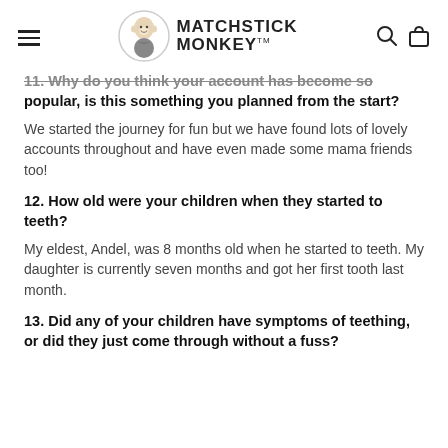Matchstick Monkey
11. Why do you think your account has become so popular, is this something you planned from the start?
We started the journey for fun but we have found lots of lovely accounts throughout and have even made some mama friends too!
12. How old were your children when they started to teeth?
My eldest, Andel, was 8 months old when he started to teeth. My daughter is currently seven months and got her first tooth last month.
13. Did any of your children have symptoms of teething, or did they just come through without a fuss?